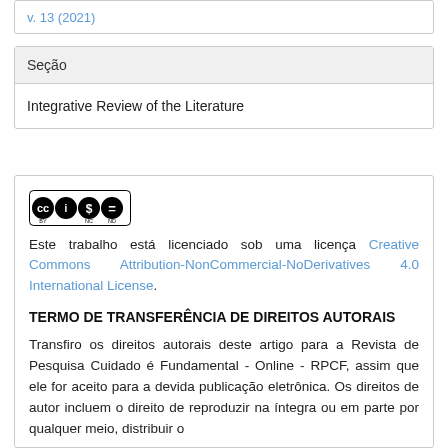v. 13 (2021)
Seção
Integrative Review of the Literature
[Figure (logo): Creative Commons BY-NC-ND license badge]
Este trabalho está licenciado sob uma licença Creative Commons Attribution-NonCommercial-NoDerivatives 4.0 International License.
TERMO DE TRANSFERÊNCIA DE DIREITOS AUTORAIS
Transfiro os direitos autorais deste artigo para a Revista de Pesquisa Cuidado é Fundamental - Online - RPCF, assim que ele for aceito para a devida publicação eletrônica. Os direitos de autor incluem o direito de reproduzir na íntegra ou em parte por qualquer meio, distribuir o